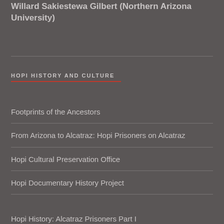Willard Sakiestewa Gilbert (Northern Arizona University)
HOPI HISTORY AND CULTURE
Footprints of the Ancestors
From Arizona to Alcatraz: Hopi Prisoners on Alcatraz
Hopi Cultural Preservation Office
Hopi Documentary History Project
Hopi History: Alcatraz Prisoners Part I